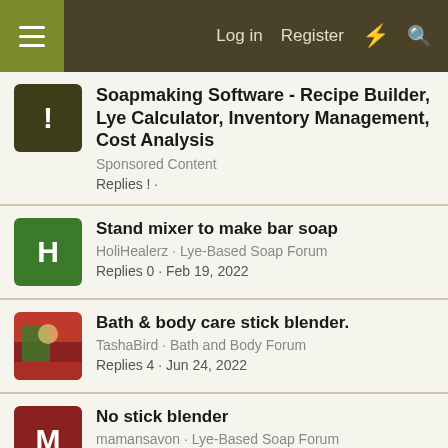Log in  Register
Soapmaking Software - Recipe Builder, Lye Calculator, Inventory Management, Cost Analysis
Sponsored Content
Replies ! ·
Stand mixer to make bar soap
HoliHealerz · Lye-Based Soap Forum
Replies 0 · Feb 19, 2022
Bath & body care stick blender.
TashaBird · Bath and Body Forum
Replies 4 · Jun 24, 2022
No stick blender
mamansavon · Lye-Based Soap Forum
Replies 8 · Aug 26, 2021
Favorite stick blender